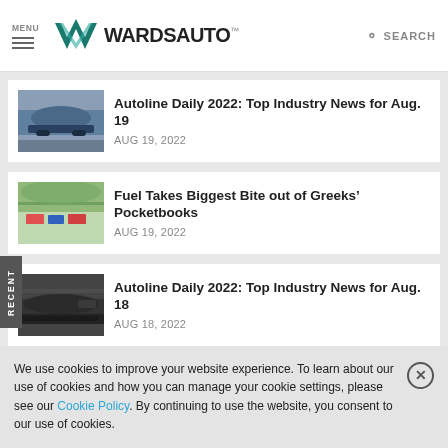MENU | WardsAuto | SEARCH
[Figure (screenshot): Thumbnail image of a concept car (electric vehicle) for the article about Autoline Daily 2022 Top Industry News for Aug. 19]
Autoline Daily 2022: Top Industry News for Aug. 19
AUG 19, 2022
[Figure (screenshot): Thumbnail aerial image of cars in a parking lot for the article about Fuel Takes Biggest Bite out of Greeks' Pocketbooks]
Fuel Takes Biggest Bite out of Greeks’ Pocketbooks
AUG 19, 2022
[Figure (screenshot): Thumbnail image of a dark colored car side profile for the article about Autoline Daily 2022 Top Industry News for Aug. 18]
Autoline Daily 2022: Top Industry News for Aug. 18
AUG 18, 2022
We use cookies to improve your website experience. To learn about our use of cookies and how you can manage your cookie settings, please see our Cookie Policy. By continuing to use the website, you consent to our use of cookies.